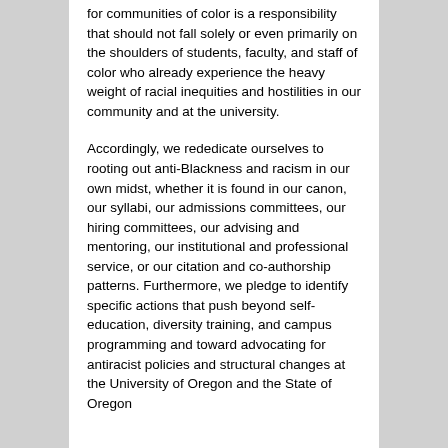for communities of color is a responsibility that should not fall solely or even primarily on the shoulders of students, faculty, and staff of color who already experience the heavy weight of racial inequities and hostilities in our community and at the university.
Accordingly, we rededicate ourselves to rooting out anti-Blackness and racism in our own midst, whether it is found in our canon, our syllabi, our admissions committees, our hiring committees, our advising and mentoring, our institutional and professional service, or our citation and co-authorship patterns. Furthermore, we pledge to identify specific actions that push beyond self-education, diversity training, and campus programming and toward advocating for antiracist policies and structural changes at the University of Oregon and the State of Oregon